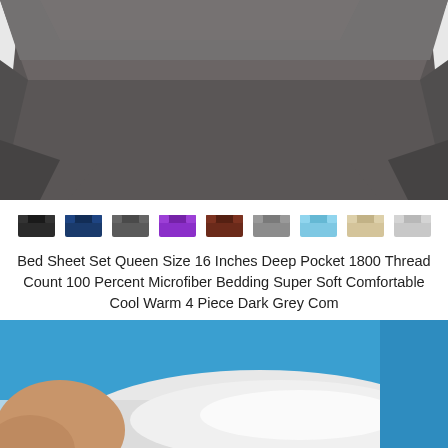[Figure (photo): Dark grey flat bed sheet draped over a surface, showing fabric texture and folded edges against a white/light background]
[Figure (photo): Row of 9 small product thumbnail images showing the same bed sheet set in different colors: black, navy, dark grey, purple, brown, grey, light blue, beige/cream, and light grey]
Bed Sheet Set Queen Size 16 Inches Deep Pocket 1800 Thread Count 100 Percent Microfiber Bedding Super Soft Comfortable Cool Warm 4 Piece Dark Grey Com
[Figure (photo): Close-up photo of a person's arm resting on white bedding with a bright blue pillow or sheet visible in the background]